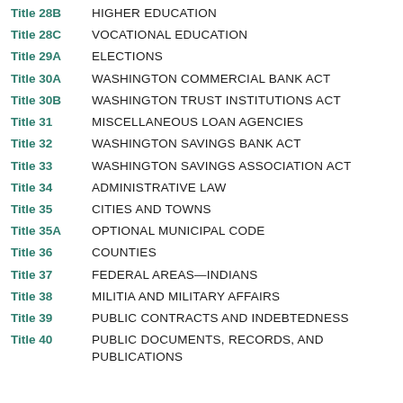Title 28B  HIGHER EDUCATION
Title 28C  VOCATIONAL EDUCATION
Title 29A  ELECTIONS
Title 30A  WASHINGTON COMMERCIAL BANK ACT
Title 30B  WASHINGTON TRUST INSTITUTIONS ACT
Title 31  MISCELLANEOUS LOAN AGENCIES
Title 32  WASHINGTON SAVINGS BANK ACT
Title 33  WASHINGTON SAVINGS ASSOCIATION ACT
Title 34  ADMINISTRATIVE LAW
Title 35  CITIES AND TOWNS
Title 35A  OPTIONAL MUNICIPAL CODE
Title 36  COUNTIES
Title 37  FEDERAL AREAS—INDIANS
Title 38  MILITIA AND MILITARY AFFAIRS
Title 39  PUBLIC CONTRACTS AND INDEBTEDNESS
Title 40  PUBLIC DOCUMENTS, RECORDS, AND PUBLICATIONS